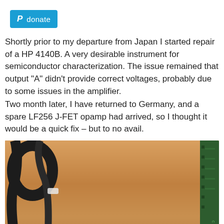[Figure (logo): PayPal donate button — blue rectangle with PayPal 'P' logo and text 'donate']
Shortly prior to my departure from Japan I started repair of a HP 4140B. A very desirable instrument for semiconductor characterization. The issue remained that output “A” didn’t provide correct voltages, probably due to some issues in the amplifier.
Two month later, I have returned to Germany, and a spare LF256 J-FET opamp had arrived, so I thought it would be a quick fix – but to no avail.
[Figure (photo): Close-up photo of a hand holding a small electronic chip (LF256 J-FET opamp) against a wooden surface background, with black cables visible on the left and a green PCB on the right edge.]